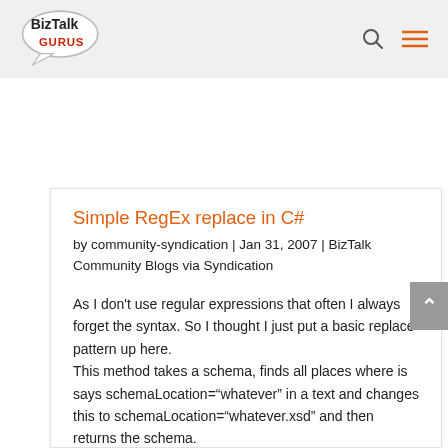BizTalk Gurus
Simple RegEx replace in C#
by community-syndication | Jan 31, 2007 | BizTalk Community Blogs via Syndication
As I don't use regular expressions that often I always forget the syntax. So I thought I just put a basic replace pattern up here.
This method takes a schema, finds all places where is says schemaLocation="whatever" in a text and changes this to schemaLocation="whatever.xsd" and then returns the schema.